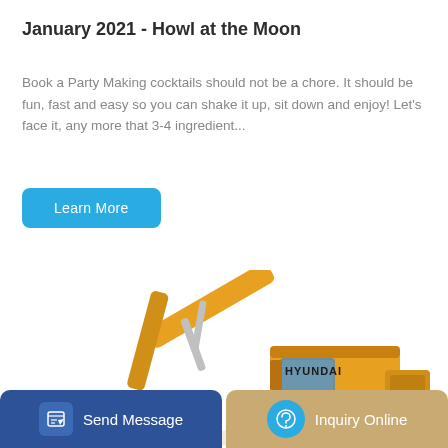January 2021 - Howl at the Moon
Book a Party Making cocktails should not be a chore. It should be fun, fast and easy so you can shake it up, sit down and enjoy! Let's face it, any more that 3-4 ingredient...
Learn More
[Figure (photo): Yellow Hyundai excavator construction machine on white background]
Send Message
Inquiry Online